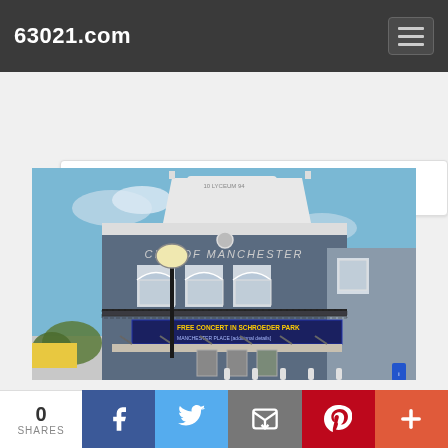63021.com
Ohlendorf West Park playground
[Figure (photo): City of Manchester building, a grey two-story historic building with white trim, arched windows, decorative ironwork awning, street lamp in foreground, banner reading FREE CONCERT IN SCHROEDER PARK]
0 SHARES
f (Facebook share)
Twitter share
Email share
Pinterest share
+ More shares